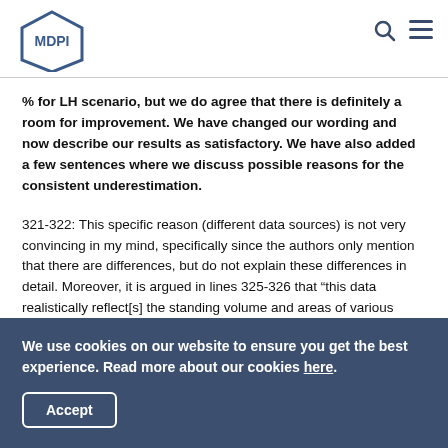MDPI
% for LH scenario, but we do agree that there is definitely a room for improvement. We have changed our wording and now describe our results as satisfactory. We have also added a few sentences where we discuss possible reasons for the consistent underestimation.
321-322: This specific reason (different data sources) is not very convincing in my mind, specifically since the authors only mention that there are differences, but do not explain these differences in detail. Moreover, it is argued in lines 325-326 that “this data realistically reflect[s] the standing volume and areas of various forest types”. If this
We use cookies on our website to ensure you get the best experience. Read more about our cookies here.
Accept